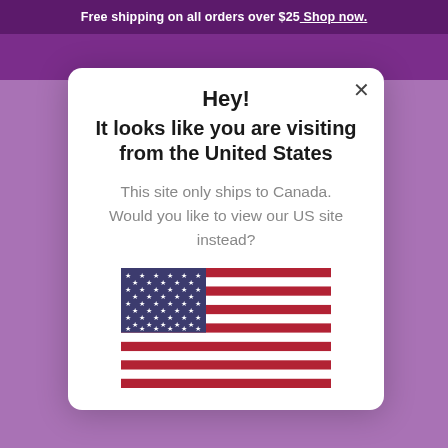Free shipping on all orders over $25 Shop now.
Hey!
It looks like you are visiting from the United States
This site only ships to Canada. Would you like to view our US site instead?
[Figure (illustration): US flag illustration with blue canton with white stars and red and white stripes]